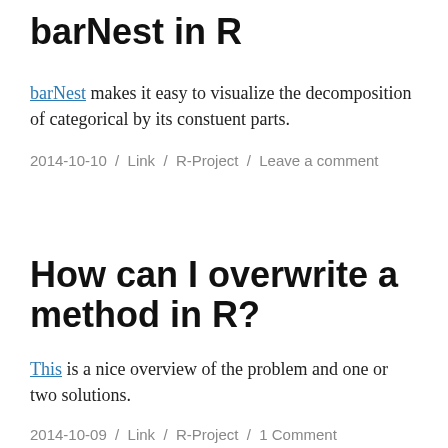barNest in R
barNest makes it easy to visualize the decomposition of categorical by its constuent parts.
2014-10-10 / Link / R-Project / Leave a comment
How can I overwrite a method in R?
This is a nice overview of the problem and one or two solutions.
2014-10-09 / Link / R-Project / 1 Comment